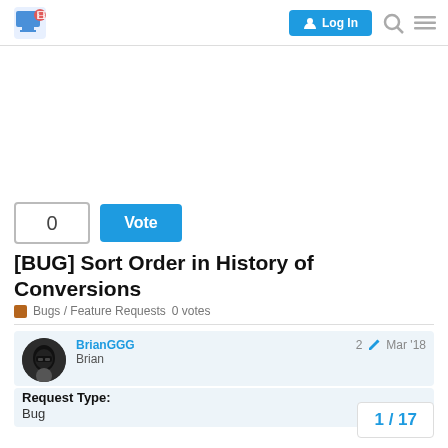Log In
[BUG] Sort Order in History of Conversions
Bugs / Feature Requests   0 votes
BrianGGG
Brian
2  Mar '18
Request Type:
Bug
1 / 17